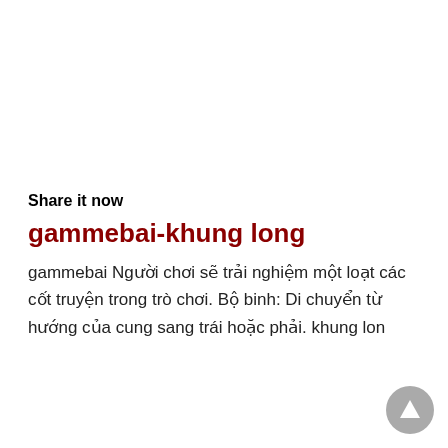Share it now
gammebai-khung long
gammebai Người chơi sẽ trải nghiệm một loạt các cốt truyện trong trò chơi. Bộ binh: Di chuyển từ hướng của cung sang trái hoặc phải. khung long